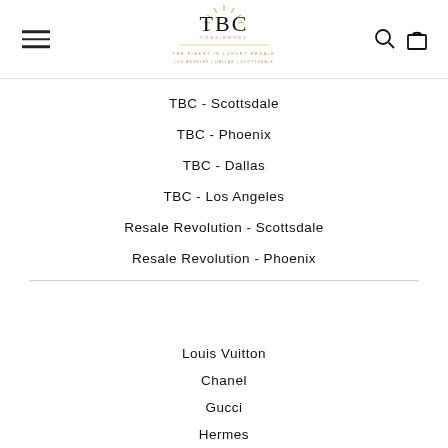[Figure (logo): TBC Consignors logo with sun rays, tagline 'THE FINEST IN LUXURY RESALE', locations 'LOS ANGELES | DALLAS | SCOTTSDALE']
TBC - Scottsdale
TBC - Phoenix
TBC - Dallas
TBC - Los Angeles
Resale Revolution - Scottsdale
Resale Revolution - Phoenix
Louis Vuitton
Chanel
Gucci
Hermes
Louboutin